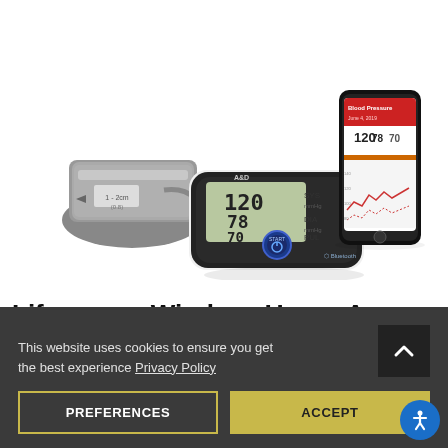[Figure (photo): A Lifesource/A&D wireless upper arm blood pressure monitor with arm cuff shown on the left, and a smartphone on the right displaying the companion app with blood pressure readings (120 systolic, 78 diastolic, 70 pulse) and a trend graph.]
Lifesource Wireless Upper Arm Blood
This website uses cookies to ensure you get the best experience Privacy Policy
PREFERENCES
ACCEPT